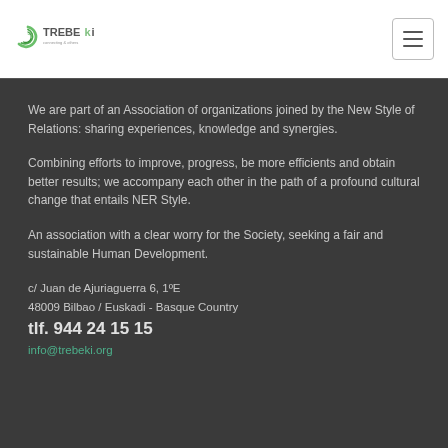[Figure (logo): TREBEki logo with green circular icon and text 'TREBEki' with tagline]
We are part of an Association of organizations joined by the New Style of Relations: sharing experiences, knowledge and synergies.
Combining efforts to improve, progress, be more efficients and obtain better results; we accompany each other in the path of a profound cultural change that entails NER Style.
An association with a clear worry for the Society, seeking a fair and sustainable Human Development.
c/ Juan de Ajuriaguerra 6, 1ºE
48009 Bilbao / Euskadi - Basque Country
tlf. 944 24 15 15
info@trebeki.org